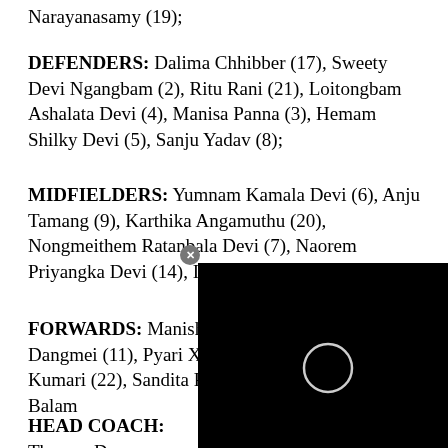Narayanasamy (19);
DEFENDERS: Dalima Chhibber (17), Sweety Devi Ngangbam (2), Ritu Rani (21), Loitongbam Ashalata Devi (4), Manisa Panna (3), Hemam Shilky Devi (5), Sanju Yadav (8);
MIDFIELDERS: Yumnam Kamala Devi (6), Anju Tamang (9), Karthika Angamuthu (20), Nongmeithem Ratanbala Devi (7), Naorem Priyangka Devi (14), Indumathi Kathiresan (12);
FORWARDS: Manisha Kalyan (16), Grace Dangmei (11), Pyari Xaxa (10), Renu (15), Sumati Kumari (22), Sandita Rani (13), Mariyammal Balam...
HEAD COACH: Thomas D...